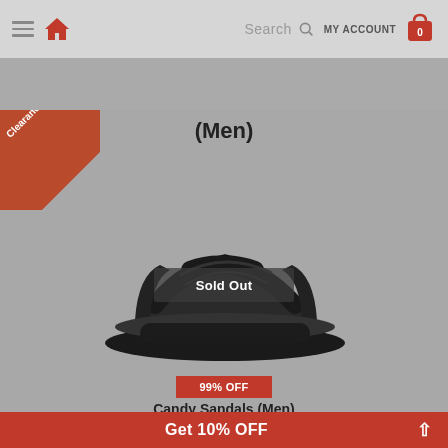Search  MY ACCOUNT  0
[Figure (screenshot): Gray banner strip below navigation]
[Figure (photo): Black Candy Sandals (Men) product photo on gray background with Sold Out overlay and Clearance badge]
(Men)
Sold Out
Candy Sandals (Men)
Slippers/Sandals
99% OFF
RM 100.00  RM 1.00
ANTS
Get 10% OFF